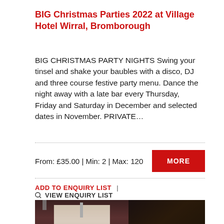BIG Christmas Parties 2022 at Village Hotel Wirral, Bromborough
BIG CHRISTMAS PARTY NIGHTS Swing your tinsel and shake your baubles with a disco, DJ and three course festive party menu. Dance the night away with a late bar every Thursday, Friday and Saturday in December and selected dates in November. PRIVATE…
From: £35.00 | Min: 2 | Max: 120
ADD TO ENQUIRY LIST | VIEW ENQUIRY LIST
[Figure (photo): Interior venue photo showing red curtains/drapes with gold ribbon, white sheer curtains in background, dark wooden pillars, and green foliage in corner. Dimly lit Christmas party venue atmosphere.]